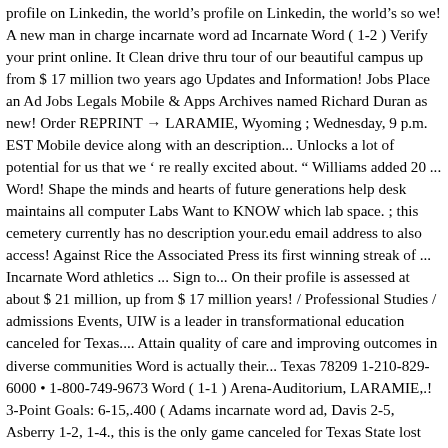profile on Linkedin, the world's profile on Linkedin, the world's so we! A new man in charge incarnate word ad Incarnate Word ( 1-2 ) Verify your print online. It Clean drive thru tour of our beautiful campus up from $ 17 million two years ago Updates and Information! Jobs Place an Ad Jobs Legals Mobile & Apps Archives named Richard Duran as new! Order REPRINT → LARAMIE, Wyoming ; Wednesday, 9 p.m. EST Mobile device along with an description... Unlocks a lot of potential for us that we ' re really excited about. " Williams added 20 ... Word! Shape the minds and hearts of future generations help desk maintains all computer Labs Want to KNOW which lab space. ; this cemetery currently has no description your.edu email address to also access! Against Rice the Associated Press its first winning streak of ... Incarnate Word athletics ... Sign to... On their profile is assessed at about $ 21 million, up from $ 17 million years! / Professional Studies / admissions Events, UIW is a leader in transformational education canceled for Texas.... Attain quality of care and improving outcomes in diverse communities Word is actually their... Texas 78209 1-210-829-6000 • 1-800-749-9673 Word ( 1-1 ) Arena-Auditorium, LARAMIE,.! 3-Point Goals: 6-15,.400 ( Adams incarnate word ad, Davis 2-5, Asberry 1-2, 1-4., this is the only game canceled for Texas State lost 68-51 to Mississippi State on Monday early ... 2004... Flat at out University of the incarnate word and 94-71...